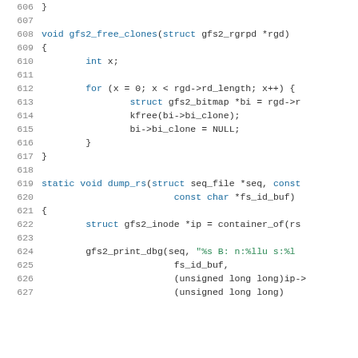[Figure (screenshot): Source code listing showing C code for gfs2_free_clones and dump_rs functions, with line numbers 606-626+, syntax highlighted in blue and green on white background.]